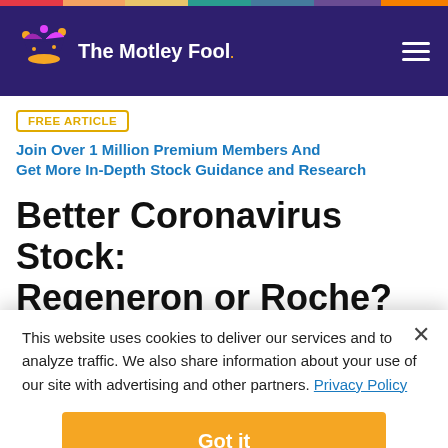The Motley Fool
FREE ARTICLE  Join Over 1 Million Premium Members And Get More In-Depth Stock Guidance and Research
Better Coronavirus Stock: Regeneron or Roche?
This website uses cookies to deliver our services and to analyze traffic. We also share information about your use of our site with advertising and other partners. Privacy Policy
Got it
Cookie Settings